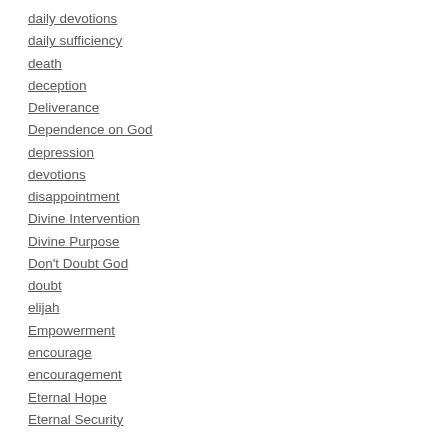daily devotions
daily sufficiency
death
deception
Deliverance
Dependence on God
depression
devotions
disappointment
Divine Intervention
Divine Purpose
Don't Doubt God
doubt
elijah
Empowerment
encourage
encouragement
Eternal Hope
Eternal Security